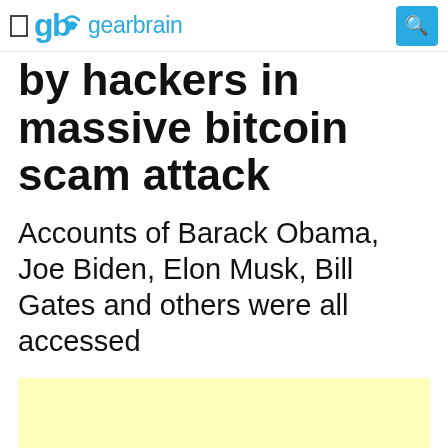gearbrain
by hackers in massive bitcoin scam attack
Accounts of Barack Obama, Joe Biden, Elon Musk, Bill Gates and others were all accessed
[Figure (other): Yellow highlighted/redacted content block 1]
[Figure (other): Yellow highlighted/redacted content block 2]